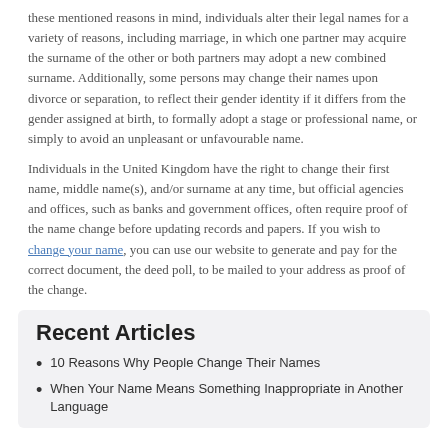these mentioned reasons in mind, individuals alter their legal names for a variety of reasons, including marriage, in which one partner may acquire the surname of the other or both partners may adopt a new combined surname. Additionally, some persons may change their names upon divorce or separation, to reflect their gender identity if it differs from the gender assigned at birth, to formally adopt a stage or professional name, or simply to avoid an unpleasant or unfavourable name.
Individuals in the United Kingdom have the right to change their first name, middle name(s), and/or surname at any time, but official agencies and offices, such as banks and government offices, often require proof of the name change before updating records and papers. If you wish to change your name, you can use our website to generate and pay for the correct document, the deed poll, to be mailed to your address as proof of the change.
Recent Articles
10 Reasons Why People Change Their Names
When Your Name Means Something Inappropriate in Another Language